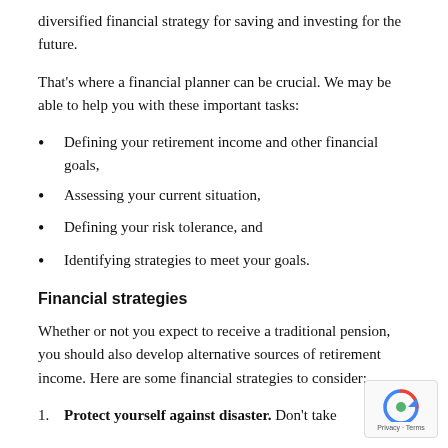diversified financial strategy for saving and investing for the future.
That’s where a financial planner can be crucial. We may be able to help you with these important tasks:
Defining your retirement income and other financial goals,
Assessing your current situation,
Defining your risk tolerance, and
Identifying strategies to meet your goals.
Financial strategies
Whether or not you expect to receive a traditional pension, you should also develop alternative sources of retirement income. Here are some financial strategies to consider:
Protect yourself against disaster. Don’t take